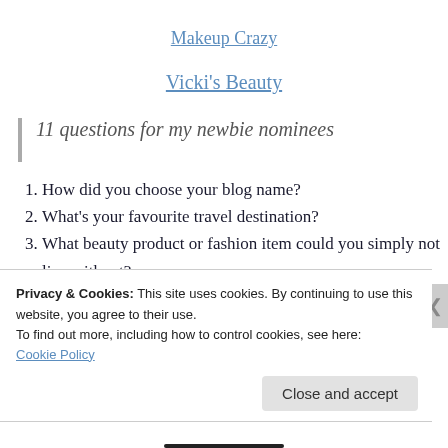Makeup Crazy
Vicki's Beauty
11 questions for my newbie nominees
How did you choose your blog name?
What's your favourite travel destination?
What beauty product or fashion item could you simply not live without?
Who is your inspiration?
(partially visible cut off item)
Privacy & Cookies: This site uses cookies. By continuing to use this website, you agree to their use.
To find out more, including how to control cookies, see here: Cookie Policy
Close and accept